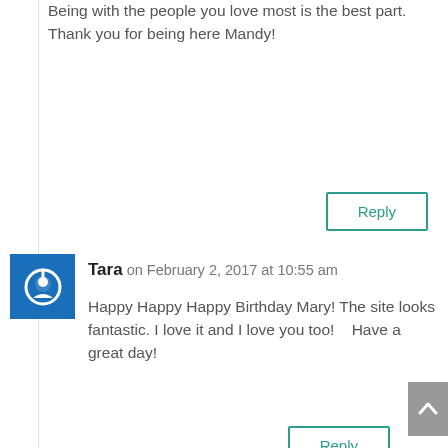Being with the people you love most is the best part. Thank you for being here Mandy!
Reply
Tara on February 2, 2017 at 10:55 am
Happy Happy Happy Birthday Mary! The site looks fantastic. I love it and I love you too!    Have a great day!
Reply
mgeisen on February 2, 2017 at 6:41 pm
Thank you sweet friend! I am thrilled